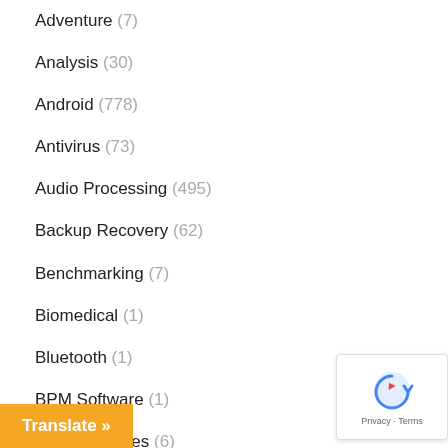Adventure (7)
Analysis (30)
Android (778)
Antivirus (73)
Audio Processing (495)
Backup Recovery (62)
Benchmarking (7)
Biomedical (1)
Bluetooth (1)
BPM Software (1)
CNC Machines (6)
Control Engineering (1)